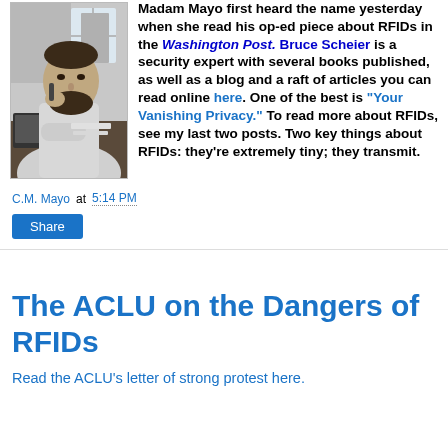[Figure (photo): Black and white photo of a bearded man sitting at a desk, leaning on his hand, with a computer and papers visible in the background]
Madam Mayo first heard the name yesterday when she read his op-ed piece about RFIDs in the Washington Post. Bruce Scheier is a security expert with several books published, as well as a blog and a raft of articles you can read online here. One of the best is "Your Vanishing Privacy." To read more about RFIDs, see my last two posts. Two key things about RFIDs: they're extremely tiny; they transmit.
C.M. Mayo at 5:14 PM
Share
The ACLU on the Dangers of RFIDs
Read the ACLU's letter of strong protest here.